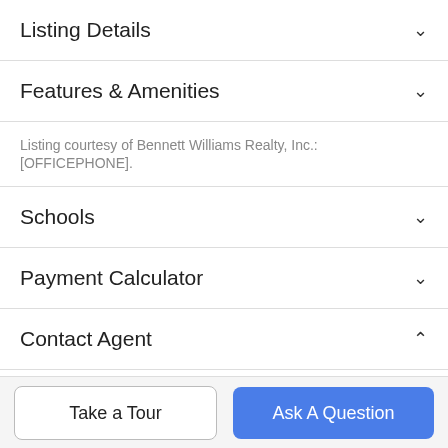Listing Details
Features & Amenities
Listing courtesy of Bennett Williams Realty, Inc.: [OFFICEPHONE].
Schools
Payment Calculator
Contact Agent
[Figure (photo): Circular profile photo of a female real estate agent with blonde hair holding a dog]
Take a Tour
Ask A Question